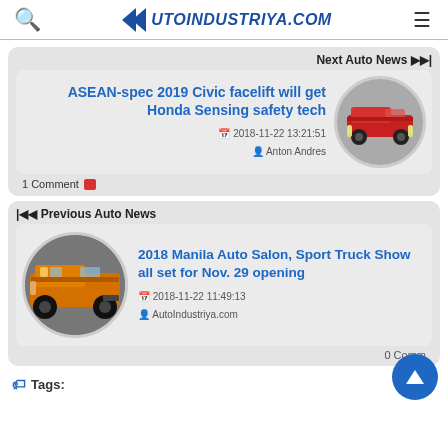AUTOINDUSTRIYA.COM
Next Auto News ▶▶|
ASEAN-spec 2019 Civic facelift will get Honda Sensing safety tech
2018-11-22 13:21:51
Anton Andres
1 Comment
[Figure (photo): Red Honda Civic facelift sedan]
◀◀ Previous Auto News
[Figure (photo): Orange lifted monster truck/4x4 at auto salon]
2018 Manila Auto Salon, Sport Truck Show all set for Nov. 29 opening
2018-11-22 11:49:13
AutoIndustriya.com
0 Comm...
🏷 Tags: